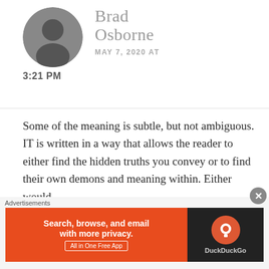[Figure (photo): Circular profile photo of Brad Osborne in black and white]
Brad Osborne
MAY 7, 2020 AT 3:21 PM
Some of the meaning is subtle, but not ambiguous. IT is written in a way that allows the reader to either find the hidden truths you convey or to find their own demons and meaning within. Either would
[Figure (screenshot): DuckDuckGo advertisement banner: Search, browse, and email with more privacy. All in One Free App. DuckDuckGo logo on dark background.]
Advertisements